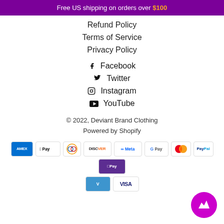Free US shipping on orders over $100
Refund Policy
Terms of Service
Privacy Policy
Facebook
Twitter
Instagram
YouTube
© 2022, Deviant Brand Clothing
Powered by Shopify
[Figure (other): Payment method icons: Amex, Apple Pay, Diners, Discover, Meta Pay, Google Pay, Mastercard, PayPal, Shop Pay, Venmo, Visa]